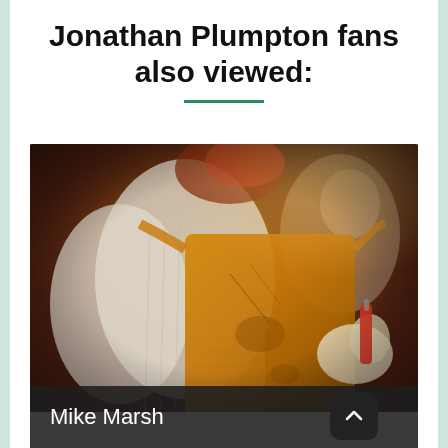Jonathan Plumpton fans also viewed:
[Figure (photo): A person wearing a worn yellow/tan leather apron and a white knit sweater, holding tools, with a blurred figure in the background against a dark reddish-brown background.]
Mike Marsh